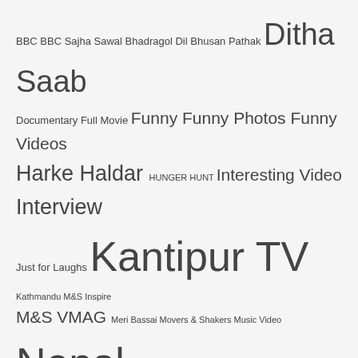BBC BBC Sajha Sawal Bhadragol Dil Bhusan Pathak Ditha Saab Documentary Full Movie Funny Funny Photos Funny Videos Harke Haldar HUNGER HUNT Interesting Video Interview Just for Laughs Kantipur TV Kathmandu M&S Inspire M&S VMAG Meri Bassai Movers & Shakers Music Video Nepal Nepal Earthquake 2015 Nepali Nepali Comedy Nepali Jokes Nepali Movie Nepali Politics Nepali Songs Nepali TV Show Nepal Police Prahari Anurodh Pranks Rishi Dhamala Sajha Sawal Sandip Chettri satirical comedy Science Technology Techtonic Tough Talk Useful Stuff What the Flop
SOCIAL
[Figure (infographic): Social media icons: Facebook, Twitter, Instagram, YouTube, Google+]
LIKE US ON FACEBOOK